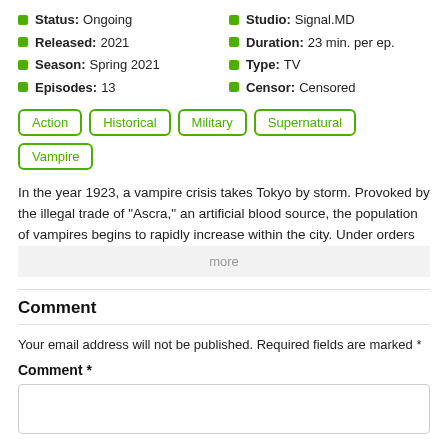Status: Ongoing
Studio: Signal.MD
Released: 2021
Duration: 23 min. per ep.
Season: Spring 2021
Type: TV
Episodes: 13
Censor: Censored
Action
Historical
Military
Supernatural
Vampire
In the year 1923, a vampire crisis takes Tokyo by storm. Provoked by the illegal trade of "Ascra," an artificial blood source, the population of vampires begins to rapidly increase within the city. Under orders
more
Comment
Your email address will not be published. Required fields are marked *
Comment *